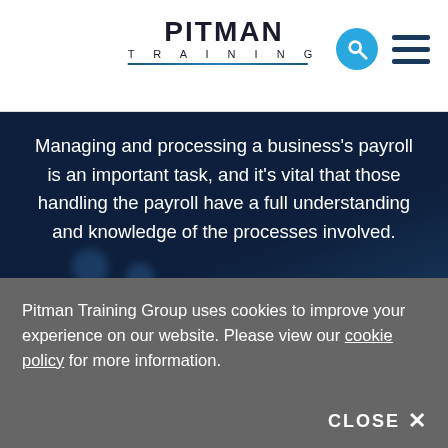[Figure (logo): Pitman Training logo with bold text and decorative underline curve]
Managing and processing a business's payroll is an important task, and it's vital that those handling the payroll have a full understanding and knowledge of the processes involved.
Pitman Training's Payroll courses are designed to teach the theory behind the practicalities of running a business's company payroll
Pitman Training Group uses cookies to improve your experience on our website. Please view our cookie policy for more information.
CLOSE ✕